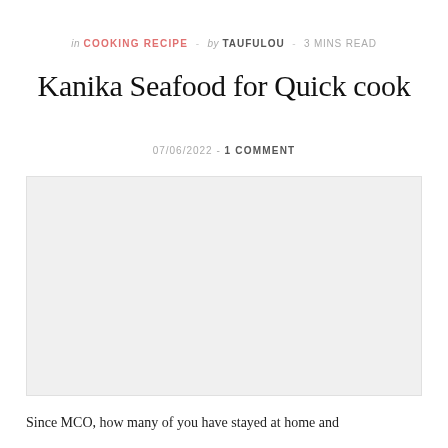in COOKING RECIPE - by TAUFULOU - 3 MINS READ
Kanika Seafood for Quick cook
07/06/2022  -  1 COMMENT
[Figure (photo): Placeholder image area for seafood dish photograph]
Since MCO, how many of you have stayed at home and